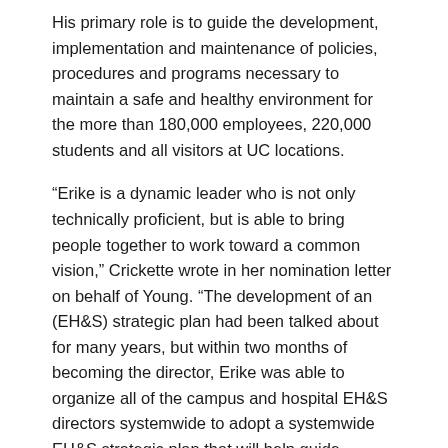His primary role is to guide the development, implementation and maintenance of policies, procedures and programs necessary to maintain a safe and healthy environment for the more than 180,000 employees, 220,000 students and all visitors at UC locations.
“Erike is a dynamic leader who is not only technically proficient, but is able to bring people together to work toward a common vision,” Crickette wrote in her nomination letter on behalf of Young. “The development of an (EH&S) strategic plan had been talked about for many years, but within two months of becoming the director, Erike was able to organize all of the campus and hospital EH&S directors systemwide to adopt a systemwide EH&S strategic plan that will help guide leadership for the next five years.”